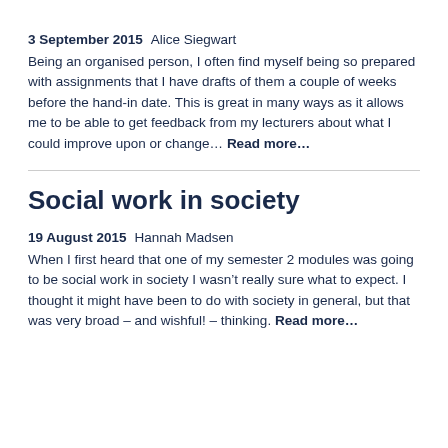3 September 2015   Alice Siegwart
Being an organised person, I often find myself being so prepared with assignments that I have drafts of them a couple of weeks before the hand-in date. This is great in many ways as it allows me to be able to get feedback from my lecturers about what I could improve upon or change… Read more…
Social work in society
19 August 2015   Hannah Madsen
When I first heard that one of my semester 2 modules was going to be social work in society I wasn&rsquo;t really sure what to expect. I thought it might have been to do with society in general, but that was very broad &ndash; and wishful! &ndash; thinking. Read more…